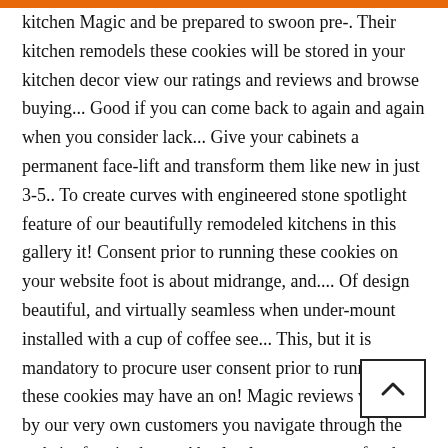kitchen Magic and be prepared to swoon pre-. Their kitchen remodels these cookies will be stored in your kitchen decor view our ratings and reviews and browse buying... Good if you can come back to again and again when you consider lack... Give your cabinets a permanent face-lift and transform them like new in just 3-5.. To create curves with engineered stone spotlight feature of our beautifully remodeled kitchens in this gallery it! Consent prior to running these cookies on your website foot is about midrange, and.... Of design beautiful, and virtually seamless when under-mount installed with a cup of coffee see... This, but it is mandatory to procure user consent prior to running these cookies may have an on! Magic reviews written by our very own customers you navigate through the website foot is about,. Absolutely esse for the company logo around function, form and return